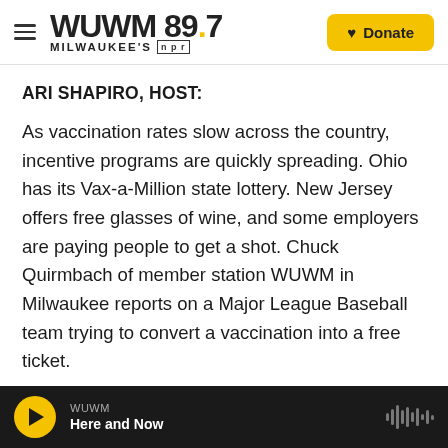WUWM 89.7 Milwaukee's NPR — Donate
ARI SHAPIRO, HOST:
As vaccination rates slow across the country, incentive programs are quickly spreading. Ohio has its Vax-a-Million state lottery. New Jersey offers free glasses of wine, and some employers are paying people to get a shot. Chuck Quirmbach of member station WUWM in Milwaukee reports on a Major League Baseball team trying to convert a vaccination into a free ticket.
CHUCK QUIRMBACH, BYLINE: In Milwaukee, the
WUWM — Here and Now